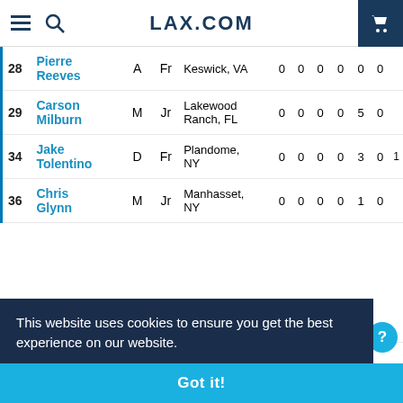LAX.COM
| # | Name | Pos | Yr | Hometown | G | A | Pts |  |  |  |  |
| --- | --- | --- | --- | --- | --- | --- | --- | --- | --- | --- | --- |
| 28 | Pierre Reeves | A | Fr | Keswick, VA | 0 | 0 | 0 | 0 | 0 | 0 |  |
| 29 | Carson Milburn | M | Jr | Lakewood Ranch, FL | 0 | 0 | 0 | 0 | 5 | 0 |  |
| 34 | Jake Tolentino | D | Fr | Plandome, NY | 0 | 0 | 0 | 0 | 3 | 0 |  |
| 36 | Chris Glynn | M | Jr | Manhasset, NY | 0 | 0 | 0 | 0 | 1 | 0 |  |
| 43 | Donaldson | D | Jr | Franklin, MI | 0 | 0 | 0 | 0 | 15 | 3 |  |
This website uses cookies to ensure you get the best experience on our website. Learn more
Got it!